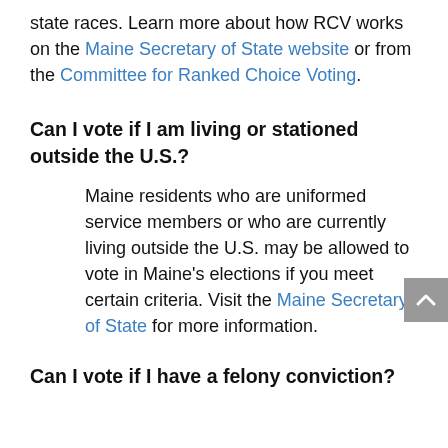state races. Learn more about how RCV works on the Maine Secretary of State website or from the Committee for Ranked Choice Voting.
Can I vote if I am living or stationed outside the U.S.?
Maine residents who are uniformed service members or who are currently living outside the U.S. may be allowed to vote in Maine's elections if you meet certain criteria. Visit the Maine Secretary of State for more information.
Can I vote if I have a felony conviction?